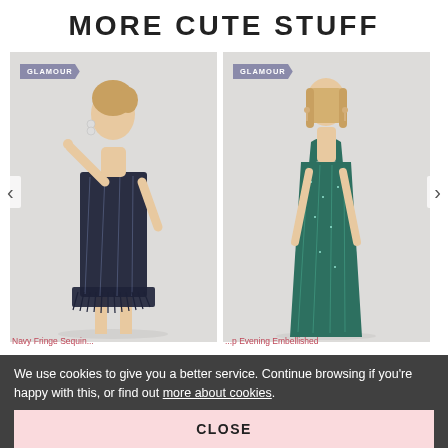MORE CUTE STUFF
[Figure (photo): Model wearing a navy blue sequin feather fringe mini dress, GLAMOUR badge top left]
[Figure (photo): Model wearing a teal/green sequin halterneck maxi evening gown, GLAMOUR badge top left]
We use cookies to give you a better service. Continue browsing if you're happy with this, or find out more about cookies.
CLOSE